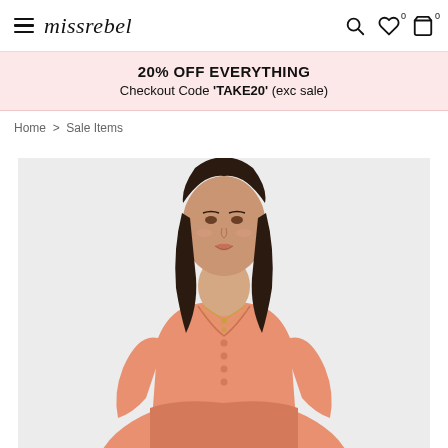missrebel — navigation header with hamburger menu, logo, search, wishlist, and cart icons
20% OFF EVERYTHING
Checkout Code 'TAKE20' (exc sale)
Home > Sale Items
[Figure (photo): Product photo of a woman wearing a peach/salmon long-sleeve button-front babydoll dress with a deep V-neckline and gathered waist, wearing gold necklaces, photographed against a light grey background.]